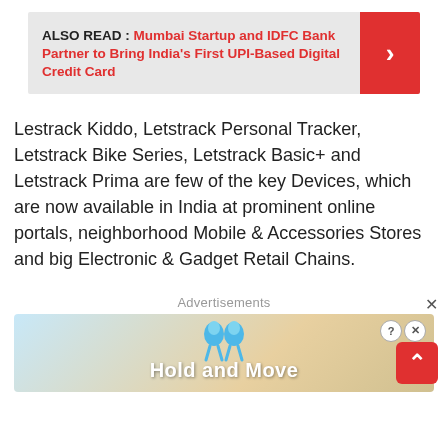ALSO READ : Mumbai Startup and IDFC Bank Partner to Bring India's First UPI-Based Digital Credit Card
Lestrack Kiddo, Letstrack Personal Tracker, Letstrack Bike Series, Letstrack Basic+ and Letstrack Prima are few of the key Devices, which are now available in India at prominent online portals, neighborhood Mobile & Accessories Stores and big Electronic & Gadget Retail Chains.
Advertisements
[Figure (screenshot): Advertisement banner showing 'Hold and Move' with cartoon figures and close/info buttons]